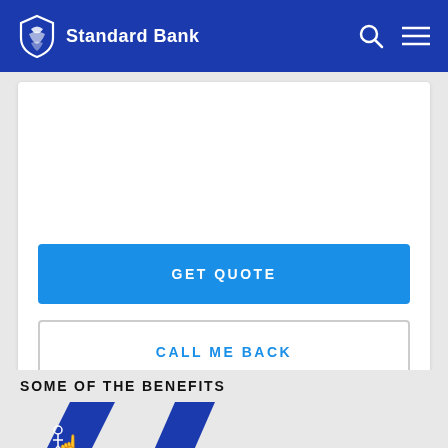Standard Bank
[Figure (screenshot): White card with GET QUOTE blue button and CALL ME BACK outlined button]
SOME OF THE BENEFITS
[Figure (illustration): Blue diamond icon with a hand/touch gesture icon inside]
[Figure (illustration): Blue diamond icon (partial, cropped)]